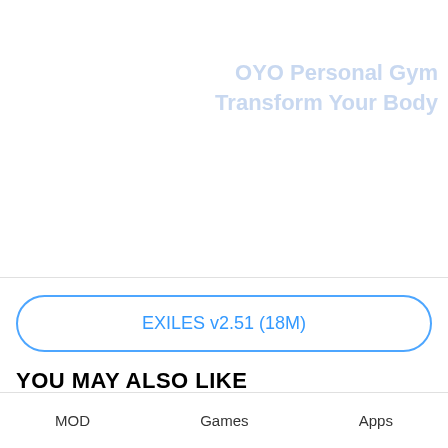[Figure (screenshot): App screenshot area showing faded watermark text 'OYO Personal Gym' and 'Transform Your Body' in light blue]
EXILES v2.51 (18M)
YOU MAY ALSO LIKE
MOD   Games   Apps